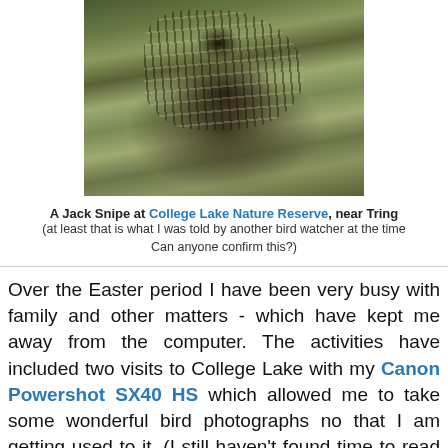[Figure (photo): Photo of a Jack Snipe bird on the ground among dry grass at College Lake Nature Reserve near Tring]
A Jack Snipe at College Lake Nature Reserve, near Tring (at least that is what I was told by another bird watcher at the time Can anyone confirm this?)
Over the Easter period I have been very busy with family and other matters - which have kept me away from the computer. The activities have included two visits to College Lake with my Canon Powershot SX40 HS which allowed me to take some wonderful bird photographs no that I am getting used to it. (I still haven't found time to read the manual to try out the manual features - which in some cases should allow me to get even better shots.)
[Figure (photo): Partial photo of another bird (appears to be a robin or similar) on grass at the bottom of the page]